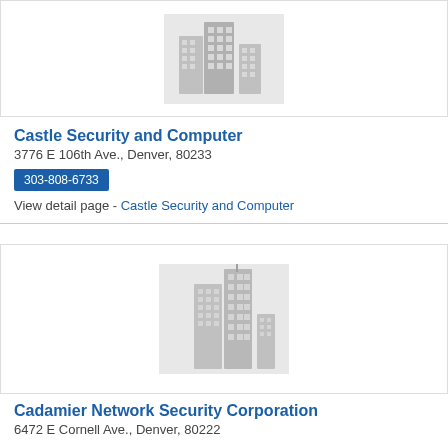[Figure (illustration): Generic grey building/cityscape placeholder icon for a business listing (top, partially cropped)]
Castle Security and Computer
3776 E 106th Ave., Denver, 80233
303-808-6733
View detail page - Castle Security and Computer
[Figure (illustration): Generic grey building/cityscape placeholder icon for a business listing (second card)]
Cadamier Network Security Corporation
6472 E Cornell Ave., Denver, 80222